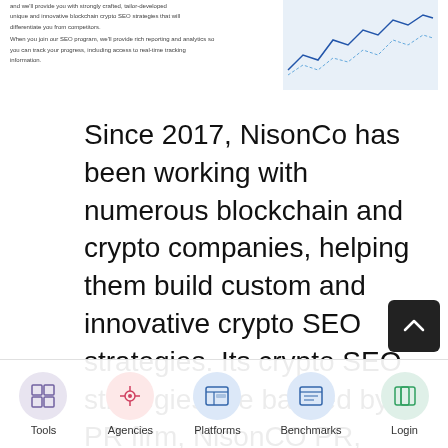Since 2017, NisonCo has been working with numerous blockchain and crypto companies, helping them build custom and innovative crypto SEO strategies. Its crypto SEO strategies are backed by its PR firm, NisonCO PR, which specializes in PR for emerging markets. NisonCo's cryptocurrency SEO services include blockchain and crypto keyword research, competitive analysis, on-site off-page SEO, and...
[Figure (illustration): Small stock chart / line graph image in upper right corner]
Tools | Agencies | Platforms | Benchmarks | Login